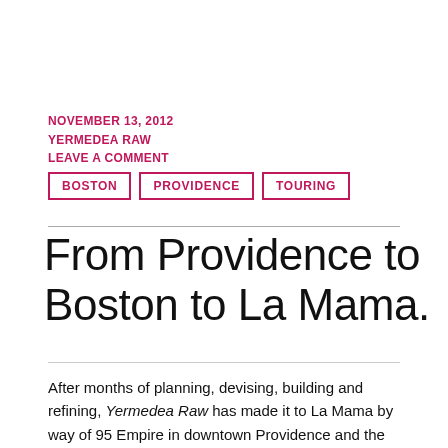NOVEMBER 13, 2012
YERMEDEA RAW
LEAVE A COMMENT
BOSTON
PROVIDENCE
TOURING
From Providence to Boston to La Mama.
After months of planning, devising, building and refining, Yermedea Raw has made it to La Mama by way of 95 Empire in downtown Providence and the Factory Theatre in Boston (produced by Sleeping Weazel).  One